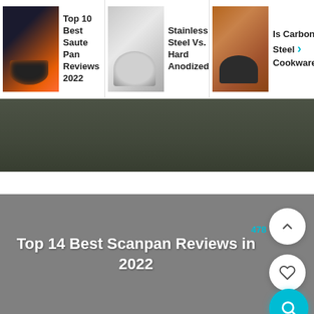[Figure (screenshot): Navigation thumbnail showing a saute pan with fire/flames on dark background]
Top 10 Best Saute Pan Reviews 2022
[Figure (screenshot): Navigation thumbnail showing stainless steel cookware set]
Stainless Steel Vs. Hard Anodized...
[Figure (screenshot): Navigation thumbnail showing a blue/dark carbon steel pan on brown/terracotta background]
Is Carbon Steel > Cookware
[Figure (photo): Hero image of food being cooked on dark background]
Top 14 Best Scanpan Reviews in 2022